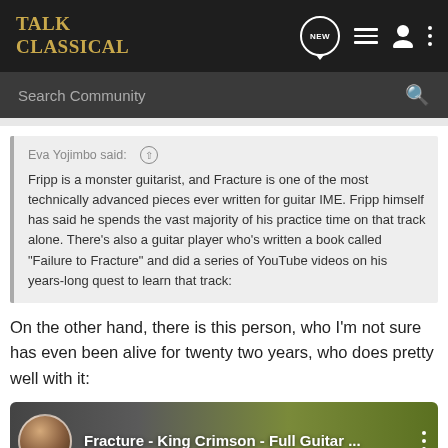TALK CLASSICAL
Search Community
Eva Yojimbo said: ↑
Fripp is a monster guitarist, and Fracture is one of the most technically advanced pieces ever written for guitar IME. Fripp himself has said he spends the vast majority of his practice time on that track alone. There's also a guitar player who's written a book called "Failure to Fracture" and did a series of YouTube videos on his years-long quest to learn that track:
On the other hand, there is this person, who I'm not sure has even been alive for twenty two years, who does pretty well with it:
[Figure (screenshot): YouTube video thumbnail showing a person playing guitar with title 'Fracture - King Crimson - Full Guitar ...']